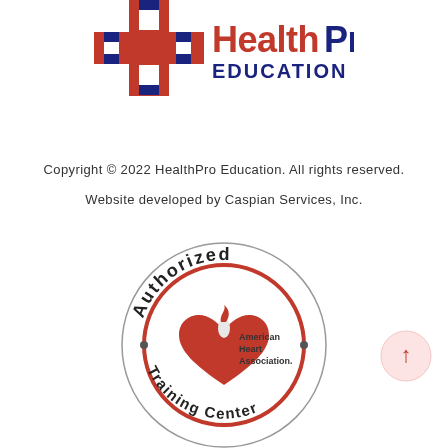[Figure (logo): HealthPro Education logo with red medical cross and dark blue text reading HealthPro EDUCATION]
Copyright © 2022 HealthPro Education. All rights reserved.
Website developed by Caspian Services, Inc.
[Figure (logo): American Heart Association Authorized Training Center circular badge/seal]
[Figure (other): Scroll-to-top button: light pink circle with red upward arrow]